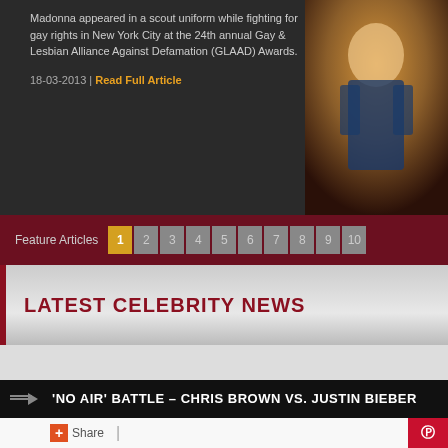Madonna appeared in a scout uniform while fighting for gay rights in New York City at the 24th annual Gay & Lesbian Alliance Against Defamation (GLAAD) Awards.
18-03-2013 |  Read Full Article
[Figure (photo): Photo of Madonna in a scout uniform, appearing at the 24th annual GLAAD Awards]
Feature Articles  1  2  3  4  5  6  7  8  9  10
LATEST CELEBRITY NEWS
'NO AIR' BATTLE – CHRIS BROWN VS. JUSTIN BIEBER
Share |